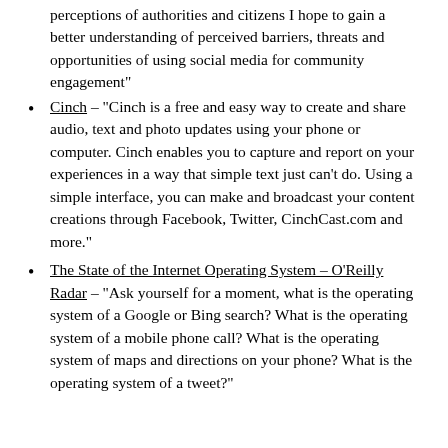perceptions of authorities and citizens I hope to gain a better understanding of perceived barriers, threats and opportunities of using social media for community engagement"
Cinch – "Cinch is a free and easy way to create and share audio, text and photo updates using your phone or computer. Cinch enables you to capture and report on your experiences in a way that simple text just can't do. Using a simple interface, you can make and broadcast your content creations through Facebook, Twitter, CinchCast.com and more."
The State of the Internet Operating System – O'Reilly Radar – "Ask yourself for a moment, what is the operating system of a Google or Bing search? What is the operating system of a mobile phone call? What is the operating system of maps and directions on your phone? What is the operating system of a tweet?"